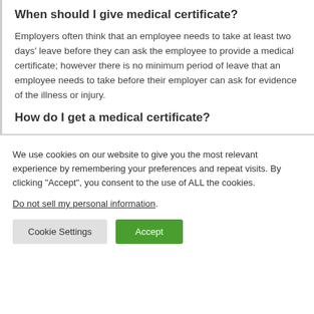When should I give medical certificate?
Employers often think that an employee needs to take at least two days’ leave before they can ask the employee to provide a medical certificate; however there is no minimum period of leave that an employee needs to take before their employer can ask for evidence of the illness or injury.
How do I get a medical certificate?
We use cookies on our website to give you the most relevant experience by remembering your preferences and repeat visits. By clicking “Accept”, you consent to the use of ALL the cookies.
Do not sell my personal information.
Cookie Settings | Accept